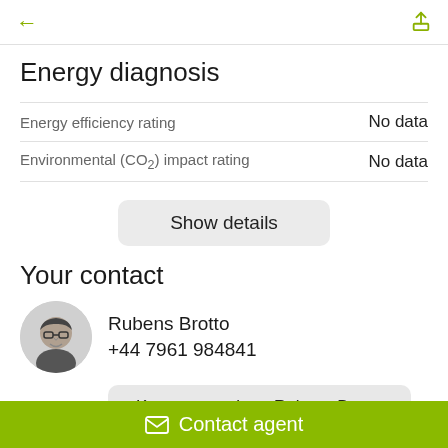← [back] [share]
Energy diagnosis
|  |  |
| --- | --- |
| Energy efficiency rating | No data |
| Environmental (CO₂) impact rating | No data |
Show details
Your contact
[Figure (photo): Circular headshot of Rubens Brotto, a man with glasses, black and white photo]
Rubens Brotto
+44 7961 984841
Know more about Rubens Brotto
Contact agent